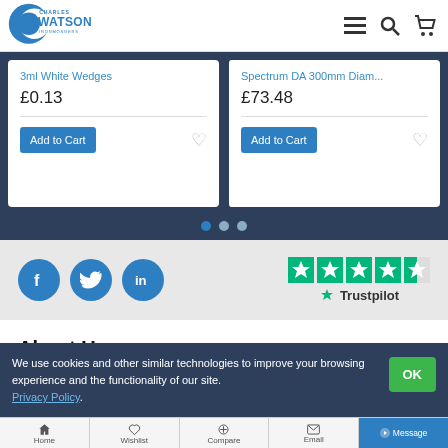[Figure (logo): Charles Watson Ironmongers logo with blue circular C shape]
3ml White Wedges
£0.13
Add to Cart
Spectrum DA 300mm Diam...
£73.48
Add to Cart
[Figure (infographic): Three social media icons: Facebook, Twitter, LinkedIn in blue circles, and Trustpilot 4.5-star rating]
About Us
About Us
We use cookies and other similar technologies to improve your browsing experience and the functionality of our site. Privacy Policy.
Home  Wishlist  Compare  Email  Message